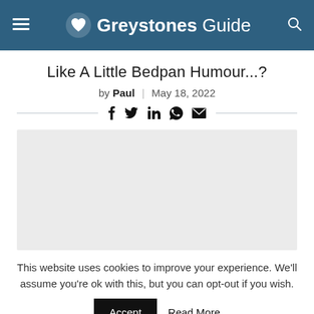Greystones Guide
Like A Little Bedpan Humour...?
by Paul | May 18, 2022
[Figure (other): Social share icons bar: Facebook, Twitter, LinkedIn, WhatsApp, Email]
[Figure (other): Gray image placeholder block]
This website uses cookies to improve your experience. We'll assume you're ok with this, but you can opt-out if you wish. Accept | Read More